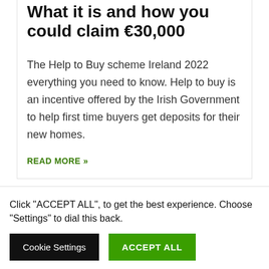What it is and how you could claim €30,000
The Help to Buy scheme Ireland 2022 everything you need to know. Help to buy is an incentive offered by the Irish Government to help first time buyers get deposits for their new homes.
READ MORE »
September 1, 2021
Click "ACCEPT ALL", to get the best experience. Choose "Settings" to dial this back.
Cookie Settings
ACCEPT ALL